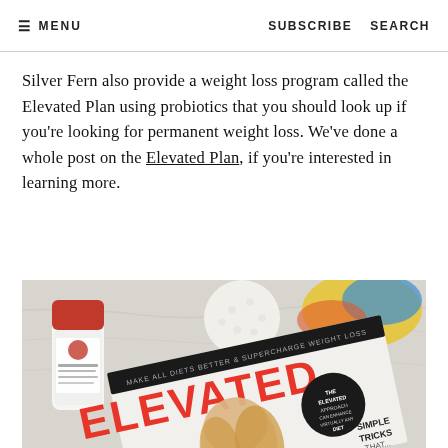≡ MENU   SUBSCRIBE   SEARCH
Silver Fern also provide a weight loss program called the Elevated Plan using probiotics that you should look up if you're looking for permanent weight loss. We've done a whole post on the Elevated Plan, if you're interested in learning more.
[Figure (photo): Photo showing a supplement bottle labeled with a red cap alongside a magazine titled 'ELEVATED' with cover text 'MAKE ALL DIETS BETTER & SUPERCHARGE WEIGHT LOSS', 'BREAK YOUR SUGAR CTION...', 'SIMPLE TRICKS THAT...' and a circular badge reading 'THE ELEVATED APPROACH CAN ENHANCE VIRTUALLY ANY DIET']